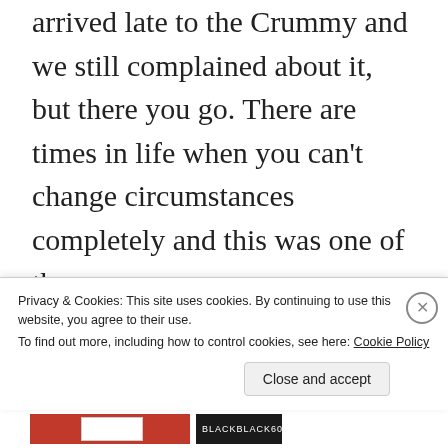arrived late to the Crummy and we still complained about it, but there you go. There are times in life when you can't change circumstances completely and this was one of them.
Simply put: There are times when you just go with the flow . . .and I am
Privacy & Cookies: This site uses cookies. By continuing to use this website, you agree to their use. To find out more, including how to control cookies, see here: Cookie Policy
Close and accept